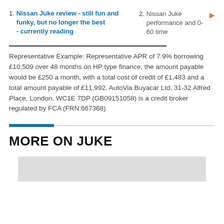1. Nissan Juke review - still fun and funky, but no longer the best - currently reading
2. Nissan Juke performance and 0-60 time
Representative Example: Representative APR of 7.9% borrowing £10,509 over 48 months on HP type finance, the amount payable would be £250 a month, with a total cost of credit of £1,483 and a total amount payable of £11,992. AutoVia Buyacar Ltd, 31-32 Alfred Place, London, WC1E 7DP (GB09151058) is a credit broker regulated by FCA (FRN:667368)
MORE ON JUKE